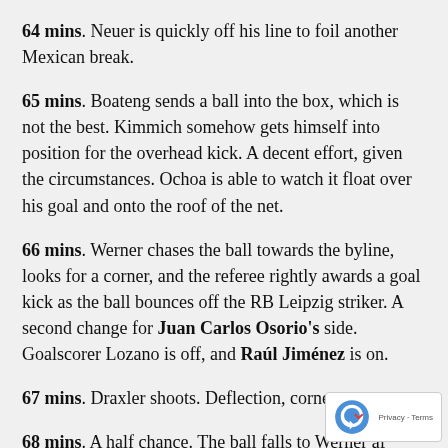64 mins. Neuer is quickly off his line to foil another Mexican break.
65 mins. Boateng sends a ball into the box, which is not the best. Kimmich somehow gets himself into position for the overhead kick. A decent effort, given the circumstances. Ochoa is able to watch it float over his goal and onto the roof of the net.
66 mins. Werner chases the ball towards the byline, looks for a corner, and the referee rightly awards a goal kick as the ball bounces off the RB Leipzig striker. A second change for Juan Carlos Osorio's side. Goalscorer Lozano is off, and Raúl Jiménez is on.
67 mins. Draxler shoots. Deflection, corner.
68 mins. A half chance. The ball falls to Werner af skimming off the top of a Mexican head, negative the